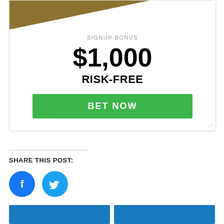[Figure (illustration): Gold diagonal triangle shape in top-left corner of a card]
SIGNUP BONUS
$1,000
RISK-FREE
BET NOW
SHARE THIS POST:
[Figure (logo): Facebook circular icon (blue)]
[Figure (logo): Twitter circular icon (blue)]